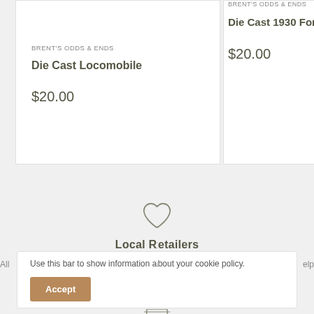BRENT'S ODDS & ENDS
Die Cast Locomobile
$20.00
BRENT'S ODDS & ENDS
Die Cast 1930 Ford
$20.00
[Figure (illustration): Heart icon outline for Local Retailers section]
Local Retailers
Use this bar to show information about your cookie policy.
Accept